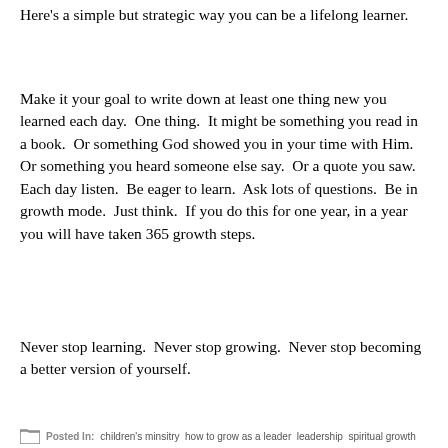Here's a simple but strategic way you can be a lifelong learner.
Make it your goal to write down at least one thing new you learned each day. One thing. It might be something you read in a book. Or something God showed you in your time with Him. Or something you heard someone else say. Or a quote you saw. Each day listen. Be eager to learn. Ask lots of questions. Be in growth mode. Just think. If you do this for one year, in a year you will have taken 365 growth steps.
Never stop learning. Never stop growing. Never stop becoming a better version of yourself.
Posted in: children's minsitry how to grow as a leader leadership spiritual growth